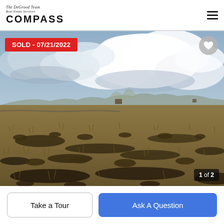The DeGrood Team Real Estate Services COMPASS
[Figure (photo): Outdoor landscape photo of dry scrubland/high desert terrain with sparse brown grasses and shrubs in the foreground, a low flat horizon line with a small structure and distant mountains, and a wide dramatic cloudy sky. Overlaid with a red 'SOLD - 07/21/2022' badge in the upper left, a heart icon button in the upper right, and a '1 of 2' photo count badge in the lower right.]
SOLD - 07/21/2022
1 of 2
Take a Tour
Ask A Question